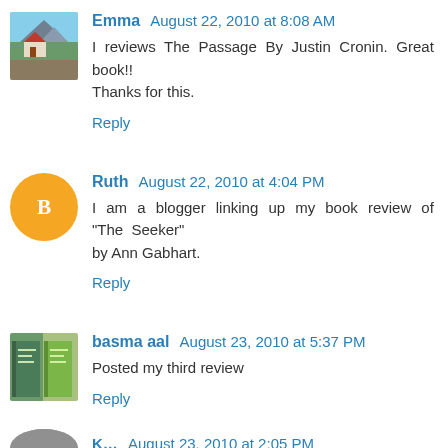Emma August 22, 2010 at 8:08 AM
I reviews The Passage By Justin Cronin. Great book!! Thanks for this.
Reply
Ruth August 22, 2010 at 4:04 PM
I am a blogger linking up my book review of "The Seeker" by Ann Gabhart.
Reply
basma aal August 23, 2010 at 5:37 PM
Posted my third review
Reply